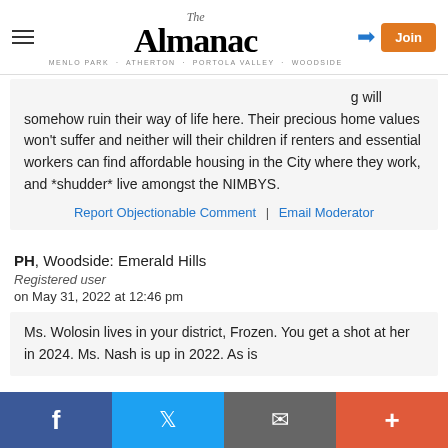The Almanac — MENLO PARK · ATHERTON · PORTOLA VALLEY · WOODSIDE
will somehow ruin their way of life here. Their precious home values won't suffer and neither will their children if renters and essential workers can find affordable housing in the City where they work, and *shudder* live amongst the NIMBYS.
Report Objectionable Comment | Email Moderator
PH, Woodside: Emerald Hills
Registered user
on May 31, 2022 at 12:46 pm
Ms. Wolosin lives in your district, Frozen. You get a shot at her in 2024. Ms. Nash is up in 2022. As is